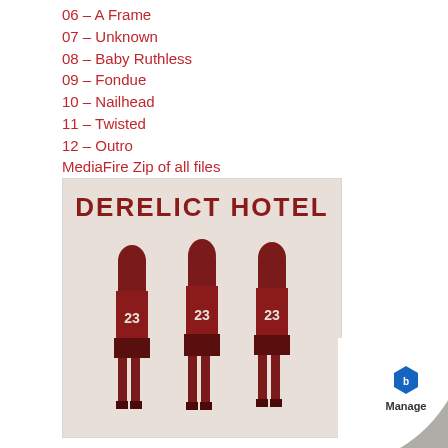06 – A Frame
07 – Unknown
08 – Baby Ruthless
09 – Fondue
10 – Nailhead
11 – Twisted
12 – Outro
MediaFire Zip of all files
[Figure (illustration): Album cover for Derelict Hotel showing three identical female figures in jerseys numbered 23, printed in dark red on a light background, with bold text 'DERELICT HOTEL' at the top.]
[Figure (logo): Page curl effect in bottom right corner with a blue hexagonal logo and the word 'Manage' beneath it.]